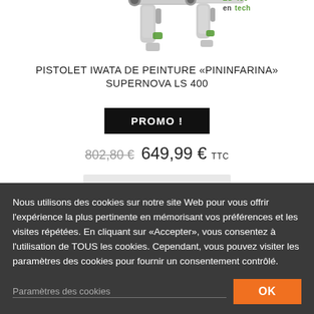[Figure (photo): Product photo of Iwata Pininfarina Supernova LS 400 spray gun, with LS-400 entech logo/branding visible]
PISTOLET IWATA DE PEINTURE « PININFARINA » SUPERNOVA LS 400
PROMO !
802,80 € 649,99 € TTC
Nous utilisons des cookies sur notre site Web pour vous offrir l'expérience la plus pertinente en mémorisant vos préférences et les visites répétées. En cliquant sur «Accepter», vous consentez à l'utilisation de TOUS les cookies. Cependant, vous pouvez visiter les paramètres des cookies pour fournir un consentement contrôlé.
Paramètres des cookies
OK